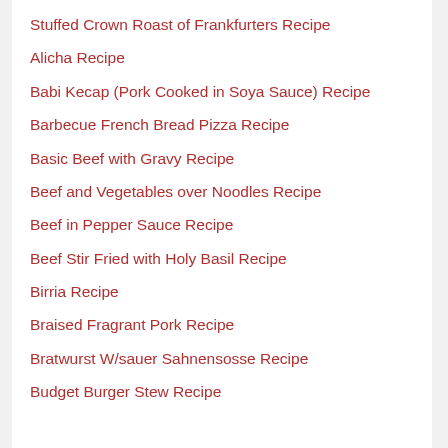Stuffed Crown Roast of Frankfurters Recipe
Alicha Recipe
Babi Kecap (Pork Cooked in Soya Sauce) Recipe
Barbecue French Bread Pizza Recipe
Basic Beef with Gravy Recipe
Beef and Vegetables over Noodles Recipe
Beef in Pepper Sauce Recipe
Beef Stir Fried with Holy Basil Recipe
Birria Recipe
Braised Fragrant Pork Recipe
Bratwurst W/sauer Sahnensosse Recipe
Budget Burger Stew Recipe